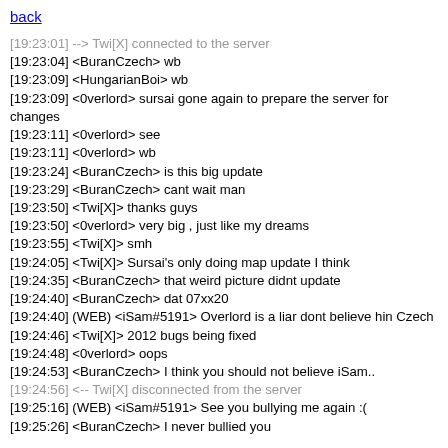back
[19:23:01] --> Twi[X] connected to the server
[19:23:04] <BuranCzech> wb
[19:23:09] <HungarianBoi> wb
[19:23:09] <0verlord> sursai gone again to prepare the server for changes
[19:23:11] <0verlord> see
[19:23:11] <0verlord> wb
[19:23:24] <BuranCzech> is this big update
[19:23:29] <BuranCzech> cant wait man
[19:23:50] <Twi[X]> thanks guys
[19:23:50] <0verlord> very big , just like my dreams
[19:23:55] <Twi[X]> smh
[19:24:05] <Twi[X]> Sursai's only doing map update I think
[19:24:35] <BuranCzech> that weird picture didnt update
[19:24:40] <BuranCzech> dat 07xx20
[19:24:40] (WEB) <iSam#5191> Overlord is a liar dont believe hin Czech
[19:24:46] <Twi[X]> 2012 bugs being fixed
[19:24:48] <0verlord> oops
[19:24:53] <BuranCzech> I think you should not believe iSam..
[19:24:56] <-- Twi[X] disconnected from the server
[19:25:16] (WEB) <iSam#5191> See you bullying me again :(
[19:25:26] <BuranCzech> I never bullied you